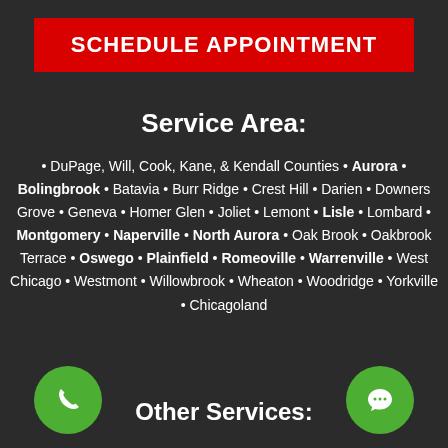SCHEDULE APPOINTMENT
Service Area:
• DuPage, Will, Cook, Kane, & Kendall Counties • Aurora • Bolingbrook • Batavia • Burr Ridge • Crest Hill • Darien • Downers Grove • Geneva • Homer Glen • Joliet • Lemont • Lisle • Lombard • Montgomery • Naperville • North Aurora • Oak Brook • Oakbrook Terrace • Oswego • Plainfield • Romeoville • Warrenville • West Chicago • Westmont • Willowbrook • Wheaton • Woodridge • Yorkville • Chicagoland
Other Services: